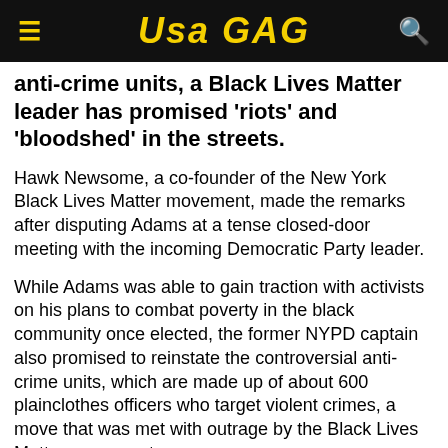USA GAG
anti-crime units, a Black Lives Matter leader has promised 'riots' and 'bloodshed' in the streets.
Hawk Newsome, a co-founder of the New York Black Lives Matter movement, made the remarks after disputing Adams at a tense closed-door meeting with the incoming Democratic Party leader.
While Adams was able to gain traction with activists on his plans to combat poverty in the black community once elected, the former NYPD captain also promised to reinstate the controversial anti-crime units, which are made up of about 600 plainclothes officers who target violent crimes, a move that was met with outrage by the Black Lives Matter movement.